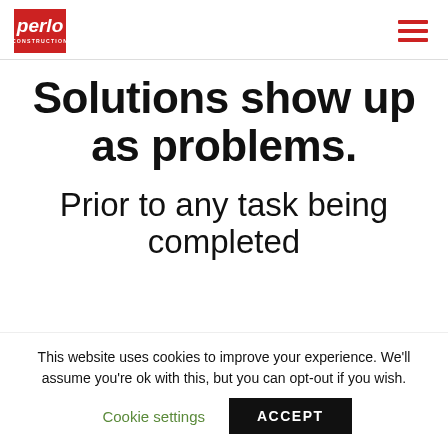perlo CONSTRUCTION
Solutions show up as problems.
Prior to any task being completed
This website uses cookies to improve your experience. We'll assume you're ok with this, but you can opt-out if you wish.
Cookie settings   ACCEPT